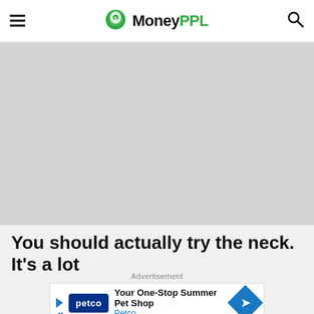MoneyPPL
[Figure (photo): Large gray placeholder image area]
You should actually try the neck. It’s a lot
Advertisement
[Figure (other): Petco advertisement banner: Your One-Stop Summer Pet Shop - Petco]